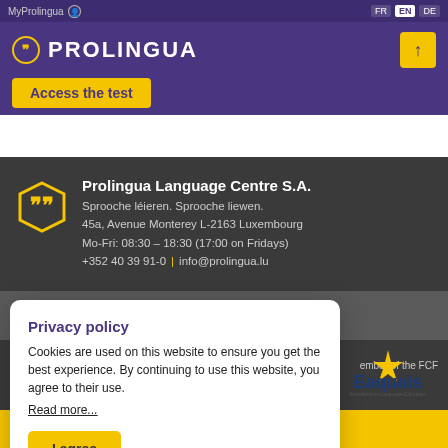MyProlingua  FR  EN  DE
PROLINGUA
Access the test
Prolingua Language Centre S.A.
Sprooche léieren. Sprooche liewen.
45a, Avenue Monterey L-2163 Luxembourg
Mo-Fri: 08:30 – 18:30 (17:00 on Fridays)
+352 40 39 91-0 | info@prolingua.lu
Privacy policy
Cookies are used on this website to ensure you get the best experience. By continuing to use this website, you agree to their use.
Read more...
I agree
[Figure (logo): Eaquals – Excellence in Language Education logo with star]
ember of the FCF
Navigation